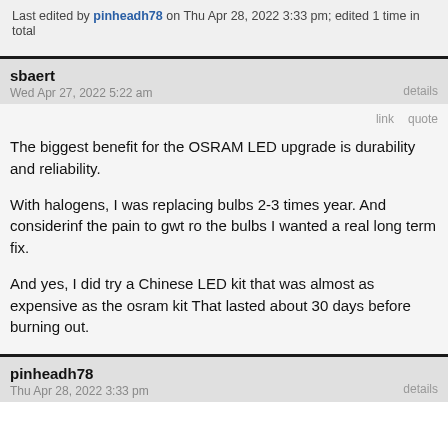Last edited by pinheadh78 on Thu Apr 28, 2022 3:33 pm; edited 1 time in total
sbaert
Wed Apr 27, 2022 5:22 am
details
link   quote
The biggest benefit for the OSRAM LED upgrade is durability and reliability.

With halogens, I was replacing bulbs 2-3 times year. And considerinf the pain to gwt ro the bulbs I wanted a real long term fix.

And yes, I did try a Chinese LED kit that was almost as expensive as the osram kit That lasted about 30 days before burning out.
pinheadh78
Thu Apr 28, 2022 3:33 pm
details